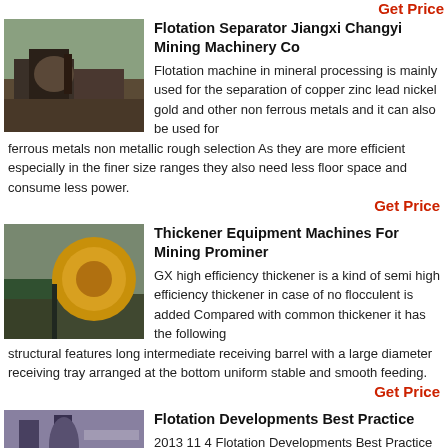Get Price
[Figure (photo): Industrial flotation separator machine outdoors with green hills in background]
Flotation Separator Jiangxi Changyi Mining Machinery Co
Flotation machine in mineral processing is mainly used for the separation of copper zinc lead nickel gold and other non ferrous metals and it can also be used for ferrous metals non metallic rough selection As they are more efficient especially in the finer size ranges they also need less floor space and consume less power.
Get Price
[Figure (photo): Large yellow industrial thickener drum machine in a facility]
Thickener Equipment Machines For Mining Prominer
GX high efficiency thickener is a kind of semi high efficiency thickener in case of no flocculent is added Compared with common thickener it has the following structural features long intermediate receiving barrel with a large diameter receiving tray arranged at the bottom uniform stable and smooth feeding.
Get Price
[Figure (photo): Industrial flotation development machinery inside a large building]
Flotation Developments Best Practice
2013 11 4 Flotation Developments Best Practice